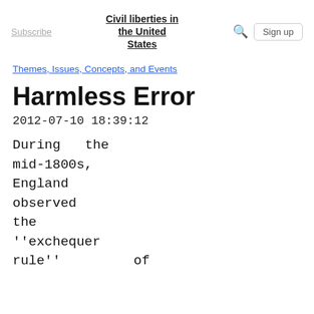Subscribe | Civil liberties in the United States | Sign up
Themes, Issues, Concepts, and Events
Harmless Error
2012-07-10 18:39:12
During the mid-1800s, England observed the ''exchequer rule'' of